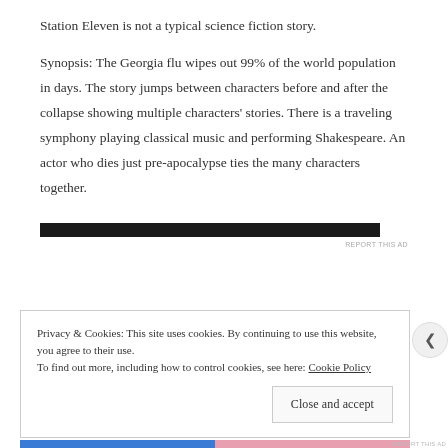Station Eleven is not a typical science fiction story.
Synopsis: The Georgia flu wipes out 99% of the world population in days. The story jumps between characters before and after the collapse showing multiple characters' stories. There is a traveling symphony playing classical music and performing Shakespeare. An actor who dies just pre-apocalypse ties the many characters together.
[Figure (other): Dark advertisement bar]
REPORT THIS AD
Privacy & Cookies: This site uses cookies. By continuing to use this website, you agree to their use. To find out more, including how to control cookies, see here: Cookie Policy
Close and accept